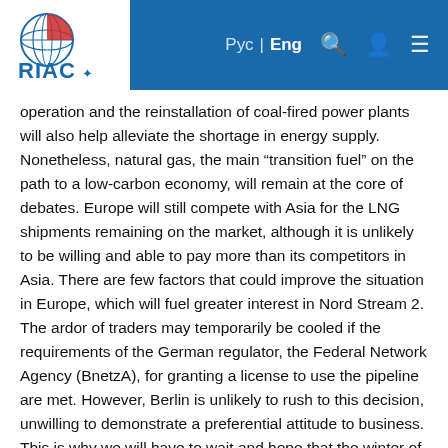RIAC | Рус | Eng
operation and the reinstallation of coal-fired power plants will also help alleviate the shortage in energy supply. Nonetheless, natural gas, the main “transition fuel” on the path to a low-carbon economy, will remain at the core of debates. Europe will still compete with Asia for the LNG shipments remaining on the market, although it is unlikely to be willing and able to pay more than its competitors in Asia. There are few factors that could improve the situation in Europe, which will fuel greater interest in Nord Stream 2. The ardor of traders may temporarily be cooled if the requirements of the German regulator, the Federal Network Agency (BnetzA), for granting a license to use the pipeline are met. However, Berlin is unlikely to rush to this decision, unwilling to demonstrate a preferential attitude to business. This is why we will have to wait and hope that the winter of 2021/2022 will come to be mild.